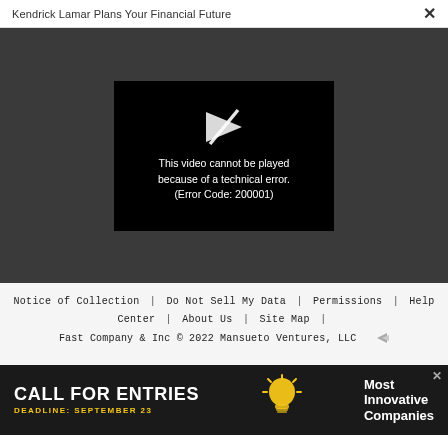Kendrick Lamar Plans Your Financial Future   ×
[Figure (screenshot): Dark gray video player area with a black video box showing a broken/unavailable video icon (stylized arrow/play mark with a slash) and error message text: 'This video cannot be played because of a technical error. (Error Code: 200001)']
Notice of Collection | Do Not Sell My Data | Permissions | Help Center | About Us | Site Map | Fast Company & Inc © 2022 Mansueto Ventures, LLC
[Figure (infographic): Advertisement banner with dark background. Left: 'CALL FOR ENTRIES' in large white bold text, 'DEADLINE: SEPTEMBER 23' in yellow. Center: lightbulb icon. Right: 'Most Innovative Companies' in white bold text.]